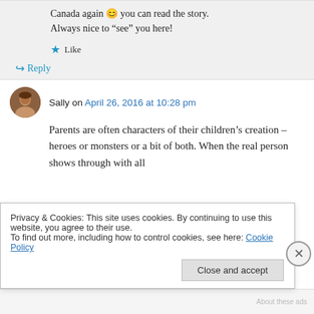Canada again 😊 you can read the story. Always nice to “see” you here!
★ Like
↪ Reply
Sally on April 26, 2016 at 10:28 pm
Parents are often characters of their children’s creation – heroes or monsters or a bit of both. When the real person shows through with all
Privacy & Cookies: This site uses cookies. By continuing to use this website, you agree to their use.
To find out more, including how to control cookies, see here: Cookie Policy
Close and accept